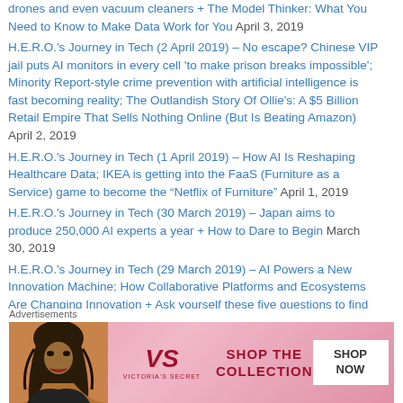drones and even vacuum cleaners + The Model Thinker: What You Need to Know to Make Data Work for You April 3, 2019
H.E.R.O.'s Journey in Tech (2 April 2019) – No escape? Chinese VIP jail puts AI monitors in every cell 'to make prison breaks impossible'; Minority Report-style crime prevention with artificial intelligence is fast becoming reality; The Outlandish Story Of Ollie's: A $5 Billion Retail Empire That Sells Nothing Online (But Is Beating Amazon) April 2, 2019
H.E.R.O.'s Journey in Tech (1 April 2019) – How AI Is Reshaping Healthcare Data; IKEA is getting into the FaaS (Furniture as a Service) game to become the “Netflix of Furniture” April 1, 2019
H.E.R.O.'s Journey in Tech (30 March 2019) – Japan aims to produce 250,000 AI experts a year + How to Dare to Begin March 30, 2019
H.E.R.O.'s Journey in Tech (29 March 2019) – AI Powers a New Innovation Machine; How Collaborative Platforms and Ecosystems Are Changing Innovation + Ask yourself these five questions to find your best self; Finding an “alter ego” for yourself is a self-development
[Figure (infographic): Victoria's Secret advertisement banner with model, VS logo, 'SHOP THE COLLECTION' text and 'SHOP NOW' button on pink background]
Advertisements